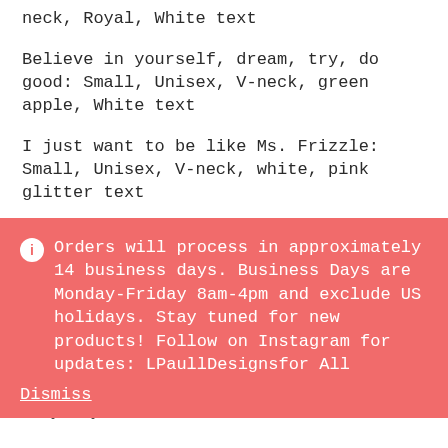neck, Royal, White text
Believe in yourself, dream, try, do good: Small, Unisex, V-neck, green apple, White text
I just want to be like Ms. Frizzle: Small, Unisex, V-neck, white, pink glitter text
Take chances, make mistakes, get messy: Small
Orders will process in approximately 14 business days. Business Days are Monday-Friday 8am-4pm and exclude US holidays. Stay tuned for new products! Follow on Instagram for updates: LPaullDesignsfor All
Dismiss